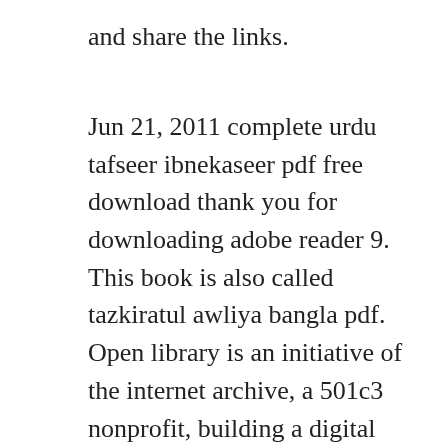and share the links.
Jun 21, 2011 complete urdu tafseer ibnekaseer pdf free download thank you for downloading adobe reader 9. This book is also called tazkiratul awliya bangla pdf. Open library is an initiative of the internet archive, a 501c3 nonprofit, building a digital library of internet sites and other cultural artifacts in digital form. Naat book pdf in urdu pdf books, books free download pdf. May 25, 2016 download ibne inshas urdu poetry shairy collection, biography and work of poet ibne insha. The